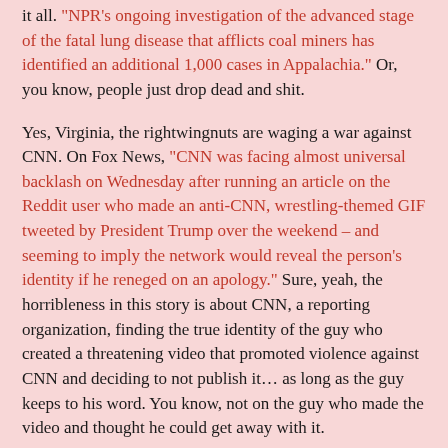it all. "NPR's ongoing investigation of the advanced stage of the fatal lung disease that afflicts coal miners has identified an additional 1,000 cases in Appalachia." Or, you know, people just drop dead and shit.
Yes, Virginia, the rightwingnuts are waging a war against CNN. On Fox News, "CNN was facing almost universal backlash on Wednesday after running an article on the Reddit user who made an anti-CNN, wrestling-themed GIF tweeted by President Trump over the weekend – and seeming to imply the network would reveal the person's identity if he reneged on an apology." Sure, yeah, the horribleness in this story is about CNN, a reporting organization, finding the true identity of the guy who created a threatening video that promoted violence against CNN and deciding to not publish it… as long as the guy keeps to his word. You know, not on the guy who made the video and thought he could get away with it.
So, since all outside non-partisan studies show Obamacare is working quite well, why do conservatives want to get rid of it? "One patient at the Mountain Valleys clinic in Bieber, Kay Roope, 64, knew she had Medi-Cal, and she liked it… 'It did me good,' she